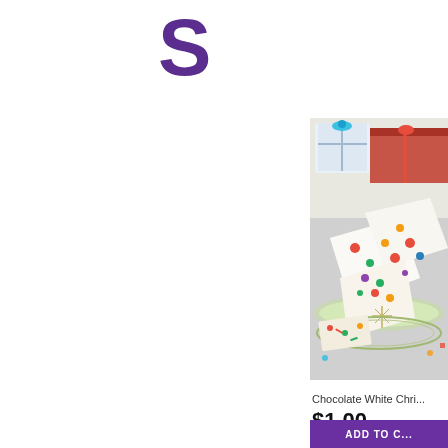[Figure (logo): Large bold purple letter S, partial logo of a shopping/recipe website]
[Figure (photo): Photo of white chocolate Christmas bark with colorful candies on a decorative plate, with wrapped gift boxes in the background]
Chocolate White Chri...
$1.00
ADD TO C...